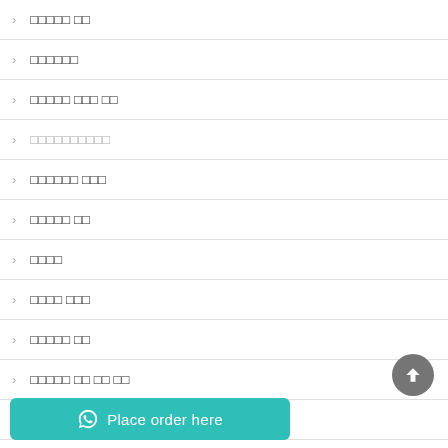□□□□□ □□
□□□□□□
□□□□□ □□□ □□
□□□□□□□□□□
□□□□□□ □□□
□□□□□ □□
□□□□
□□□□ □□□
□□□□□ □□
□□□□□ □□ □□ □□
□□□□□ mgm □□□
Place order here